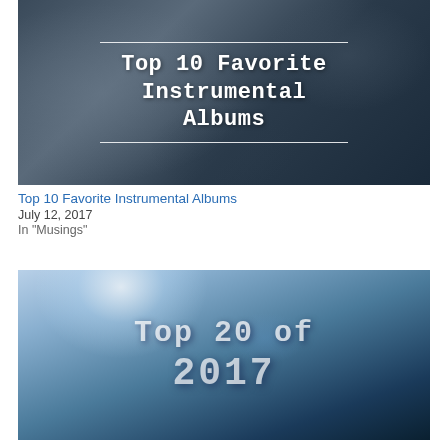[Figure (photo): Dark moody photo of rocky texture/stone with white typewriter-font text overlay reading 'Top 10 Favorite Instrumental Albums' framed by two horizontal lines]
Top 10 Favorite Instrumental Albums
July 12, 2017
In "Musings"
[Figure (photo): Dark blue/icy atmospheric photo with large typewriter-font text overlay reading 'Top 20 of 2017', partially cropped]